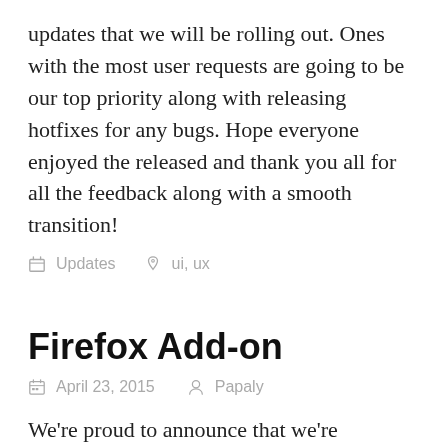updates that we will be rolling out. Ones with the most user requests are going to be our top priority along with releasing hotfixes for any bugs. Hope everyone enjoyed the released and thank you all for all the feedback along with a smooth transition!
Updates   ui, ux
Firefox Add-on
April 23, 2015   Papaly
We're proud to announce that we're officially apart of the Firefox Add-on Store! If you previously installed our Firefox beta add-on please delete the add-on and replace it with